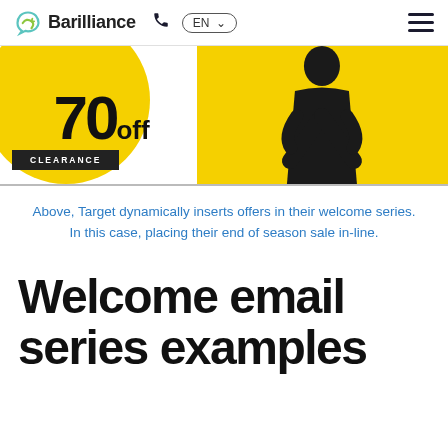Barilliance  EN
[Figure (photo): Promotional banner showing '70 off' text on a yellow circle with a CLEARANCE button, and a person in a black outfit against a yellow background]
Above, Target dynamically inserts offers in their welcome series. In this case, placing their end of season sale in-line.
Welcome email series examples